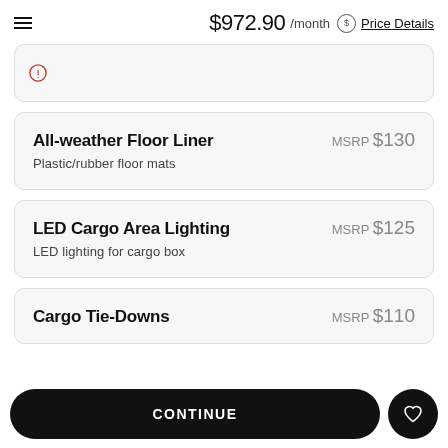$972.90 /month Price Details
Alert icon
All-weather Floor Liner  MSRP $130
Plastic/rubber floor mats
LED Cargo Area Lighting  MSRP $125
LED lighting for cargo box
Cargo Tie-Downs  MSRP $110
CONTINUE